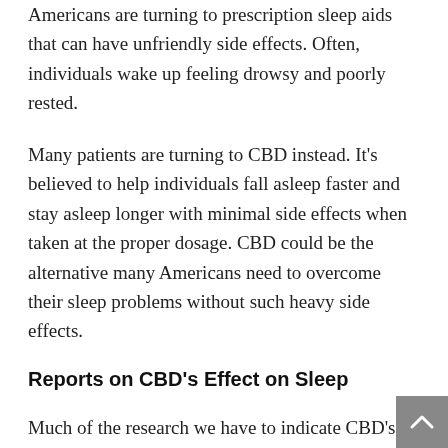Americans are turning to prescription sleep aids that can have unfriendly side effects. Often, individuals wake up feeling drowsy and poorly rested.
Many patients are turning to CBD instead. It's believed to help individuals fall asleep faster and stay asleep longer with minimal side effects when taken at the proper dosage. CBD could be the alternative many Americans need to overcome their sleep problems without such heavy side effects.
Reports on CBD's Effect on Sleep
Much of the research we have to indicate CBD's sleep-boosting effects comes from anecdotal research. In one article for MyDomaine.com, writer Kelsey Clark, a long-time cannabis user, reported sleep benefits when using CBD.
“I seem to fall asleep faster; within the 20-30-minute rang